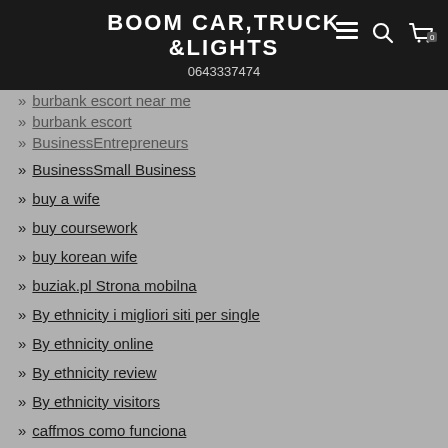BOOM CAR,TRUCK &LIGHTS 0643337474
burbank escort near me
burbank escort
BusinessEntrepreneurs
BusinessSmall Business
buy a wife
buy coursework
buy korean wife
buziak.pl Strona mobilna
By ethnicity i migliori siti per single
By ethnicity online
By ethnicity review
By ethnicity visitors
caffmos como funciona
caffmos es review
caffmos fr review